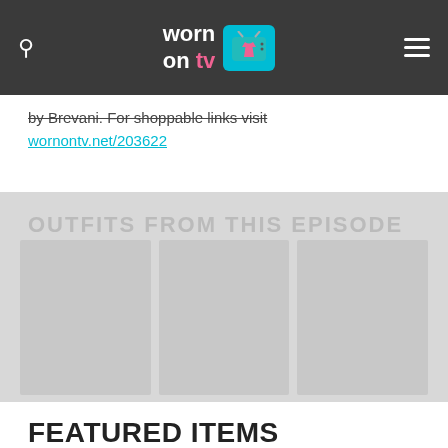worn on tv — navigation header with search and menu icons
by Brevani. For shoppable links visit wornontv.net/203622
[Figure (other): Gray section showing 'OUTFITS FROM THIS EPISODE' header and a row of three placeholder thumbnail images]
FEATURED ITEMS